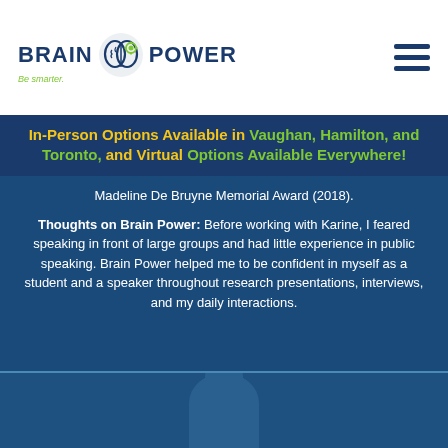[Figure (logo): Brain Power logo with brain icon, blue text 'BRAIN POWER' and green tagline 'Be smarter.' with hamburger menu icon on the right]
In-Person Options Available in Vaughan, Hamilton, and Toronto, and Virtual Options Available Everywhere!
Madeline De Bruyne Memorial Award (2018).
Thoughts on Brain Power: Before working with Karine, I feared speaking in front of large groups and had little experience in public speaking. Brain Power helped me to be confident in myself as a student and a speaker throughout research presentations, interviews, and my daily interactions.
[Figure (photo): Dark blue tinted photo of a person, visible at the bottom of the page]